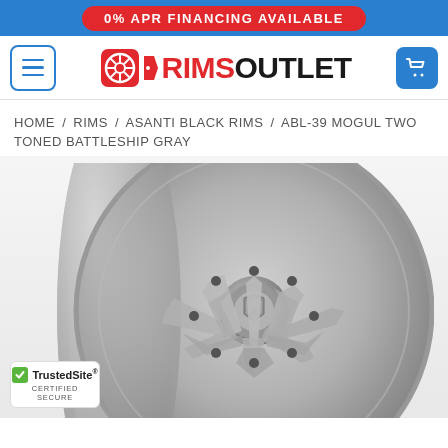0% APR FINANCING AVAILABLE
[Figure (logo): RimsOutlet logo with hamburger menu and cart button]
HOME / RIMS / ASANTI BLACK RIMS / ABL-39 MOGUL TWO TONED BATTLESHIP GRAY
[Figure (photo): Asanti Black ABL-39 Mogul Two Toned Battleship Gray wheel rim product photo, large gray alloy wheel with geometric spoke design]
[Figure (logo): TrustedSite Certified Secure badge]